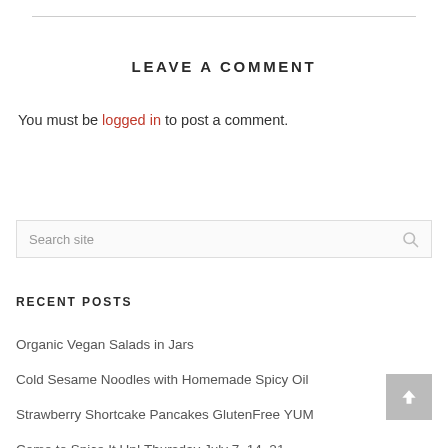LEAVE A COMMENT
You must be logged in to post a comment.
Search site
RECENT POSTS
Organic Vegan Salads in Jars
Cold Sesame Noodles with Homemade Spicy Oil
Strawberry Shortcake Pancakes GlutenFree YUM
Come to Spice It Up! Thursday July 7, 14, 21